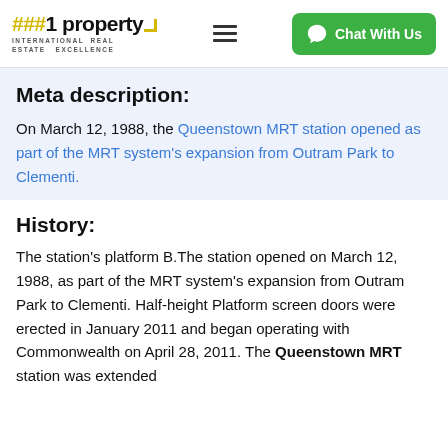##1 property INTERNATIONAL REAL ESTATE EXCELLENCE | Chat With Us
Meta description:
On March 12, 1988, the Queenstown MRT station opened as part of the MRT system's expansion from Outram Park to Clementi.
History:
The station's platform B.The station opened on March 12, 1988, as part of the MRT system's expansion from Outram Park to Clementi. Half-height Platform screen doors were erected in January 2011 and began operating with Commonwealth on April 28, 2011. The Queenstown MRT station was extended